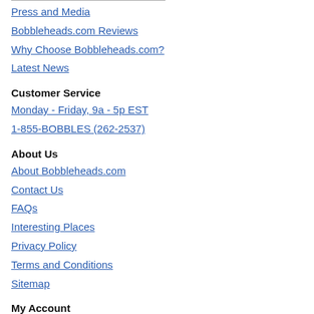Press and Media
Bobbleheads.com Reviews
Why Choose Bobbleheads.com?
Latest News
Customer Service
Monday - Friday, 9a - 5p EST
1-855-BOBBLES (262-2537)
About Us
About Bobbleheads.com
Contact Us
FAQs
Interesting Places
Privacy Policy
Terms and Conditions
Sitemap
My Account
Sign In